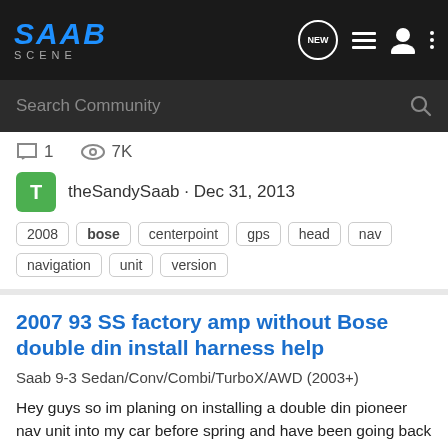SAAB SCENE — navigation bar with search
1  7K
theSandySaab · Dec 31, 2013
Tags: 2008, bose, centerpoint, gps, head, nav, navigation, unit, version
2007 93 SS factory amp without Bose double din install harness help
Saab 9-3 Sedan/Conv/Combi/TurboX/AWD (2003+)
Hey guys so im planing on installing a double din pioneer nav unit into my car before spring and have been going back and forth with what i need for it to work. So you smart people hopefully have a direct answer for me and i can get this done. Was told i need these harnesses and then was told...